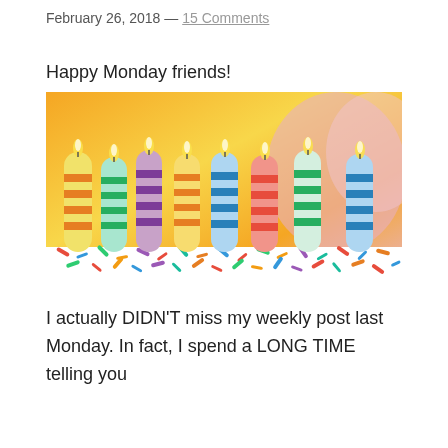February 26, 2018 — 15 Comments
Happy Monday friends!
[Figure (photo): Birthday cake candles — eight colorful striped candles with lit flames on a white cake covered in colorful sprinkles, with orange/yellow balloon bokeh background]
I actually DIDN'T miss my weekly post last Monday. In fact, I spend a LONG TIME telling you